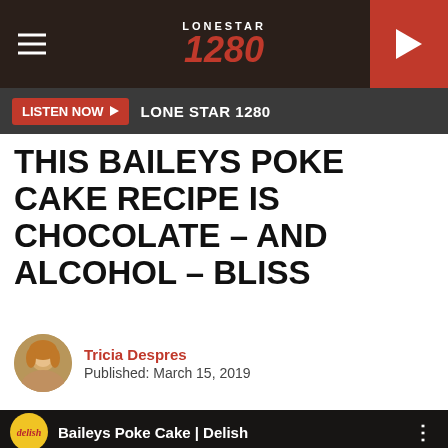LONESTAR 1280
LISTEN NOW ▶  LONE STAR 1280
THIS BAILEYS POKE CAKE RECIPE IS CHOCOLATE – AND ALCOHOL – BLISS
Tricia Despres
Published: March 15, 2019
[Figure (screenshot): YouTube video thumbnail for 'Baileys Poke Cake | Delish' showing a slice of chocolate poke cake on a plate with a Delish channel badge and YouTube play button overlay]